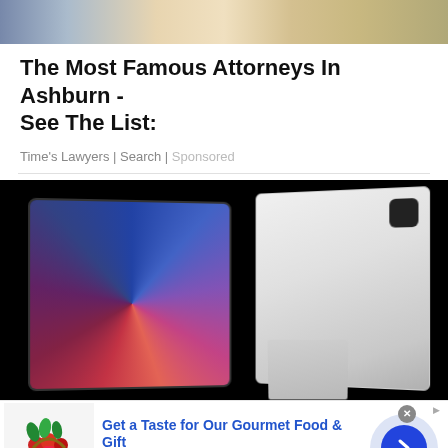[Figure (photo): Cropped top portion of a woman with blonde hair and jewelry, used as an advertisement image]
The Most Famous Attorneys In Ashburn - See The List:
Time's Lawyers | Search | Sponsored
[Figure (photo): Two iPad Pro tablets against black background — one showing colorful display pattern facing forward, one showing silver back with Magic Keyboard]
Get a Taste for Our Gourmet Food & Gift
Chocolate Gifts - Fruit Baskets - Baked Goods
www.1800flowers.com